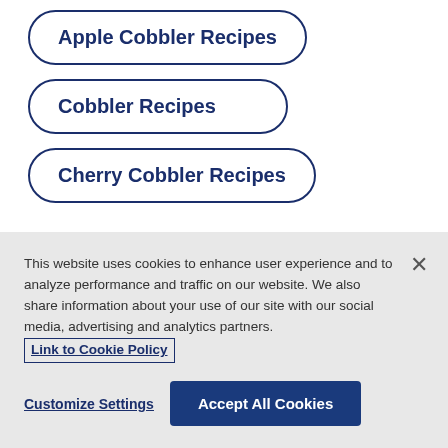Apple Cobbler Recipes
Cobbler Recipes
Cherry Cobbler Recipes
This website uses cookies to enhance user experience and to analyze performance and traffic on our website. We also share information about your use of our site with our social media, advertising and analytics partners. Link to Cookie Policy
Customize Settings
Accept All Cookies